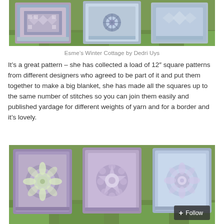[Figure (photo): Three crocheted granny squares with geometric patterns in blue, grey and cream tones, laid on grass. Top portion of the photo visible.]
Esme's Winter Cottage by Dedri Uys
It's a great pattern – she has collected a load of 12″ square patterns from different designers who agreed to be part of it and put them together to make a big blanket, she has made all the squares up to the same number of stitches so you can join them easily and published yardage for different weights of yarn and for a border and it's lovely.
[Figure (photo): Three crocheted granny squares with floral/mandala patterns in purple, blue and cream tones, laid on grass. Bottom portion showing a Follow button overlay.]